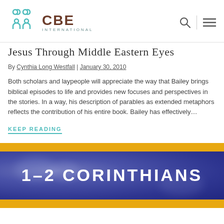CBE International
Jesus Through Middle Eastern Eyes
By Cynthia Long Westfall | January 30, 2010
Both scholars and laypeople will appreciate the way that Bailey brings biblical episodes to life and provides new focuses and perspectives in the stories. In a way, his description of parables as extended metaphors reflects the contribution of his entire book. Bailey has effectively…
KEEP READING
[Figure (illustration): Book cover showing '1-2 CORINTHIANS' text in white on a blue/purple textured background with gold/yellow horizontal bands at top and bottom]